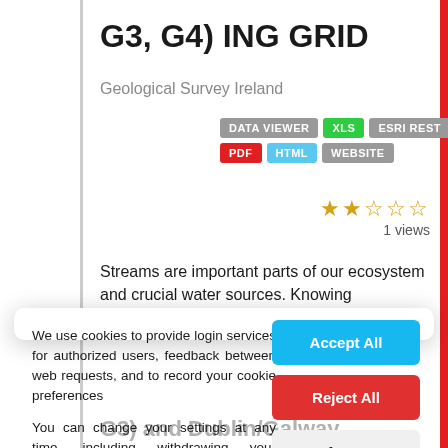G3, G4) ING GRID
Geological Survey Ireland
DATA VIEWER  XLS  ESRI REST  PDF  HTML  WEBSITE
1 views
Streams are important parts of our ecosystem and crucial water sources. Knowing composition of stream
We use cookies to provide login services for authorized users, feedback between web requests, and to record your cookie preferences

You can change your settings at any time, including withdrawing your consent, by going to the Privacy Policy page of this site.
G3) and Dublin/Galway